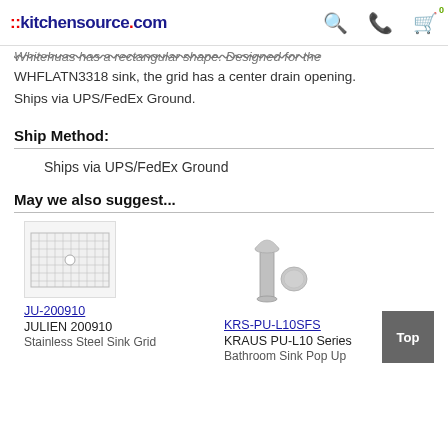::kitchensource.com
Whitehuas has a rectangular shape. Designed for the WHFLATN3318 sink, the grid has a center drain opening. Ships via UPS/FedEx Ground.
Ship Method:
Ships via UPS/FedEx Ground
May we also suggest...
[Figure (photo): Stainless steel sink grid with center drain hole cutout]
JU-200910
JULIEN 200910
Stainless Steel Sink Grid
[Figure (photo): Bathroom sink pop-up drain assembly in brushed nickel finish]
KRS-PU-L10SFS
KRAUS PU-L10 Series
Bathroom Sink Pop Up